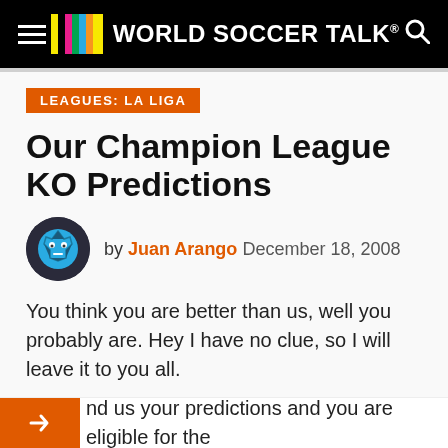WORLD SOCCER TALK
LEAGUES: LA LIGA
Our Champion League KO Predictions
by Juan Arango  December 18, 2008
You think you are better than us, well you probably are.  Hey I have no clue, so I will leave it to you all.
I want to see which one of you can guess correctly the CL KO matchups.
nd us your predictions and you are eligible for the